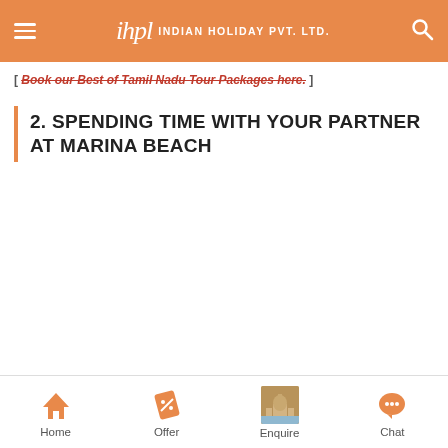ihpl INDIAN HOLIDAY PVT. LTD.
[ Book our Best of Tamil Nadu Tour Packages here. ]
2. SPENDING TIME WITH YOUR PARTNER AT MARINA BEACH
Home | Offer | Enquire | Chat